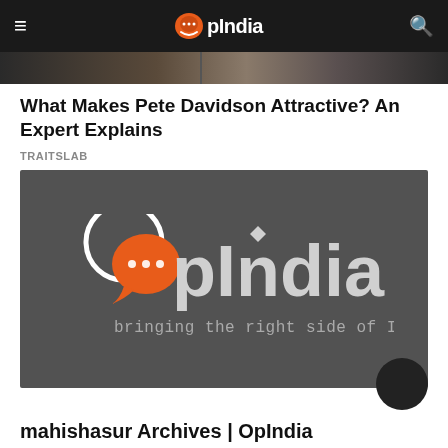OpIndia
[Figure (screenshot): Partial article thumbnail showing blurred/abstract image]
What Makes Pete Davidson Attractive? An Expert Explains
TRAITSLAB
[Figure (logo): OpIndia logo on dark grey background with tagline 'bringing the right side of India']
mahishasur Archives | OpIndia
All articles about mahishasur topic published on OpIndia